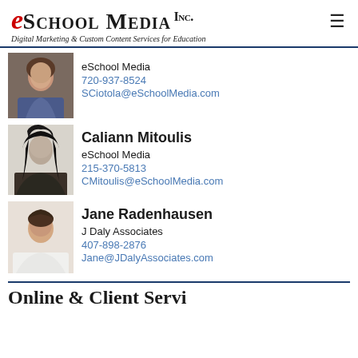[Figure (logo): eSchool Media Inc. logo with tagline 'Digital Marketing & Custom Content Services for Education']
[Figure (photo): Photo of woman with dark hair smiling, first contact]
eSchool Media
720-937-8524
SCiotola@eSchoolMedia.com
[Figure (photo): Black and white photo of Caliann Mitoulis]
Caliann Mitoulis
eSchool Media
215-370-5813
CMitoulis@eSchoolMedia.com
[Figure (photo): Photo of Jane Radenhausen, woman with short dark hair]
Jane Radenhausen
J Daly Associates
407-898-2876
Jane@JDalyAssociates.com
Online & Client Services